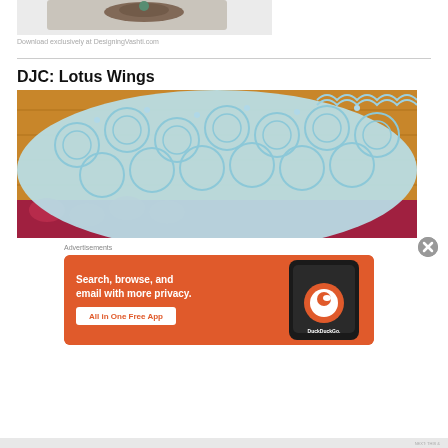[Figure (photo): Partial view of a crochet or embroidered item on white background, top portion of image]
Download exclusively at DesigningVashti.com
DJC: Lotus Wings
[Figure (photo): Light blue crochet lace piece with lotus/pineapple pattern laid on a wooden surface with red crochet visible underneath]
Advertisements
[Figure (screenshot): DuckDuckGo advertisement banner: orange background with phone, text 'Search, browse, and email with more privacy. All in One Free App', DuckDuckGo logo]